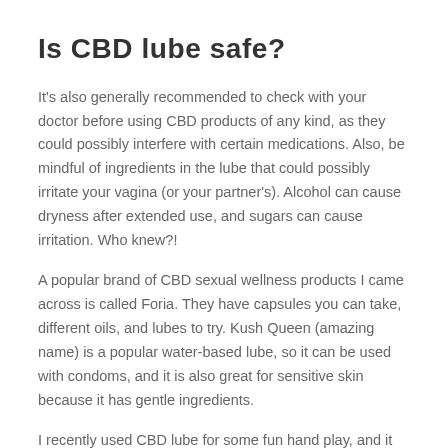Is CBD lube safe?
It's also generally recommended to check with your doctor before using CBD products of any kind, as they could possibly interfere with certain medications. Also, be mindful of ingredients in the lube that could possibly irritate your vagina (or your partner's). Alcohol can cause dryness after extended use, and sugars can cause irritation. Who knew?!
A popular brand of CBD sexual wellness products I came across is called Foria. They have capsules you can take, different oils, and lubes to try. Kush Queen (amazing name) is a popular water-based lube, so it can be used with condoms, and it is also great for sensitive skin because it has gentle ingredients.
I recently used CBD lube for some fun hand play, and it